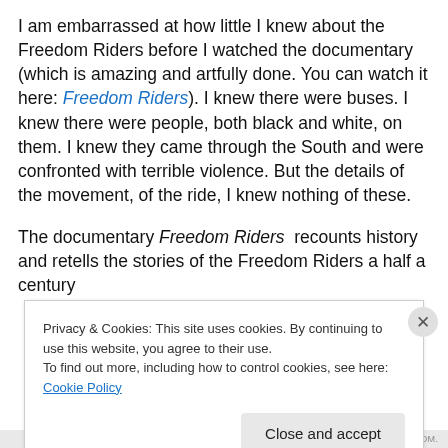I am embarrassed at how little I knew about the Freedom Riders before I watched the documentary (which is amazing and artfully done. You can watch it here: Freedom Riders). I knew there were buses. I knew there were people, both black and white, on them. I knew they came through the South and were confronted with terrible violence. But the details of the movement, of the ride, I knew nothing of these.
The documentary Freedom Riders recounts history and retells the stories of the Freedom Riders a half a century
Privacy & Cookies: This site uses cookies. By continuing to use this website, you agree to their use. To find out more, including how to control cookies, see here: Cookie Policy
Close and accept
BLOG AT WORDPRESS.COM.